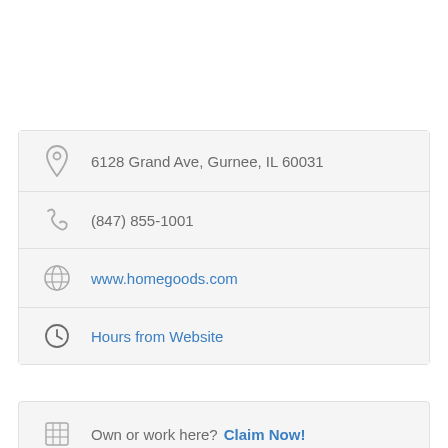6128 Grand Ave, Gurnee, IL 60031
(847) 855-1001
www.homegoods.com
Hours from Website
Own or work here? Claim Now!